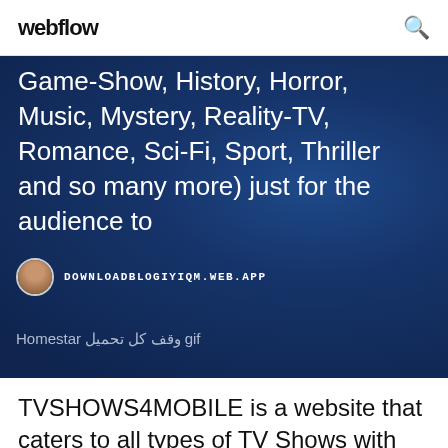webflow
Game-Show, History, Horror, Music, Mystery, Reality-TV, Romance, Sci-Fi, Sport, Thriller and so many more) just for the audience to
DOWNLOADBLOGIYIQM.WEB.APP
Homestar وقف كل تحميل gif
TVSHOWS4MOBILE is a website that caters to all types of TV Shows with